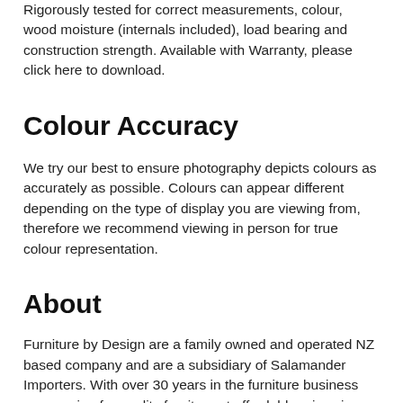Rigorously tested for correct measurements, colour, wood moisture (internals included), load bearing and construction strength. Available with Warranty, please click here to download.
Colour Accuracy
We try our best to ensure photography depicts colours as accurately as possible. Colours can appear different depending on the type of display you are viewing from, therefore we recommend viewing in person for true colour representation.
About
Furniture by Design are a family owned and operated NZ based company and are a subsidiary of Salamander Importers. With over 30 years in the furniture business our passion for quality furniture at affordable prices is stronger than ever. With highly experienced Furniture Buyers, in-house Interior Designers and collaboration with European Furniture Designers we aim to strike a balance between